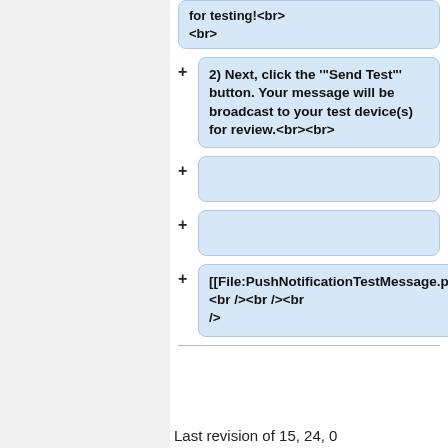2) Next, click the '"Send Test"' button. Your message will be broadcast to your test device(s) for review.<br><br>
(empty card)
(empty card)
[[File:PushNotificationTestMessage.png|600px]] <br /><br /><br />
Last revision of 15, 24, 0